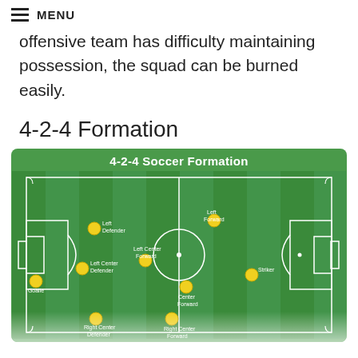MENU
offensive team has difficulty maintaining possession, the squad can be burned easily.
4-2-4 Formation
[Figure (infographic): 4-2-4 Soccer Formation diagram showing a green soccer field with player positions marked as yellow circles with labels: Goalie, Left Defender, Left Center Defender, Left Center Forward, Left Forward, Center Forward, Striker, Right Center Defender (partially visible), Right Center Forward (partially visible), Goalie (partially visible at bottom).]